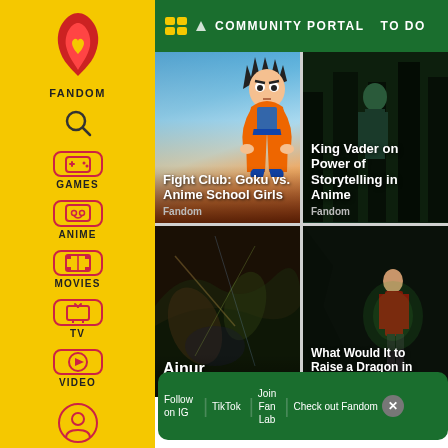[Figure (screenshot): Fandom website sidebar with yellow background showing navigation icons for FANDOM, search, GAMES, ANIME, MOVIES, TV, VIDEO, and profile]
COMMUNITY PORTAL   TO DO
[Figure (photo): Card showing anime character Goku with title 'Fight Club: Goku vs. Anime School Girls' sourced from Fandom]
[Figure (photo): Card showing King Vader on Power of Storytelling in Anime sourced from Fandom]
[Figure (photo): Card showing Ainur from The One Wiki to Rule]
[Figure (photo): Card showing What Would It to Raise a Dragon in Real Life?]
Follow on IG   TikTok   Join Fan Lab   Check out Fandom Quizzes and cha